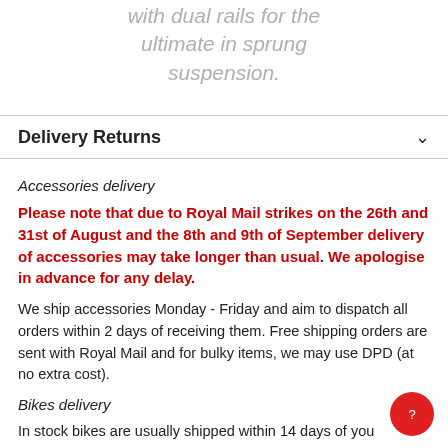with dual rails for the ultimate in sprung suspension.
Delivery Returns
Accessories delivery
Please note that due to Royal Mail strikes on the 26th and 31st of August and the 8th and 9th of September delivery of accessories may take longer than usual. We apologise in advance for any delay.
We ship accessories Monday - Friday and aim to dispatch all orders within 2 days of receiving them. Free shipping orders are sent with Royal Mail and for bulky items, we may use DPD (at no extra cost).
Bikes delivery
In stock bikes are usually shipped within 14 days of you